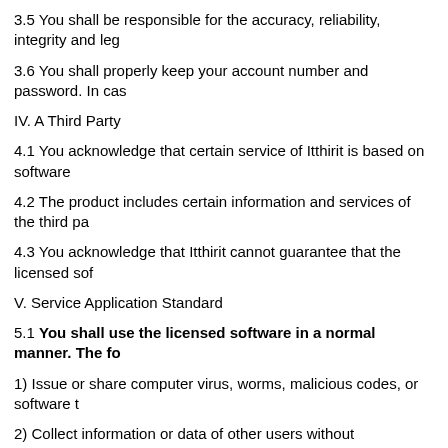3.5 You shall be responsible for the accuracy, reliability, integrity and le…
3.6 You shall properly keep your account number and password. In cas…
IV. A Third Party
4.1 You acknowledge that certain service of Itthirit is based on software…
4.2 The product includes certain information and services of the third pa…
4.3 You acknowledge that Itthirit cannot guarantee that the licensed sof…
V. Service Application Standard
5.1 You shall use the licensed software in a normal manner. The fo…
1) Issue or share computer virus, worms, malicious codes, or software t…
2) Collect information or data of other users without authorization, for ex…
3) Maliciously use the product in an automatic way, causing over load to…
4) Attempt to visit server data or communication data of the product with…
5) Interfere with or damage the production application by other users.
5.2 You understand and agree that: